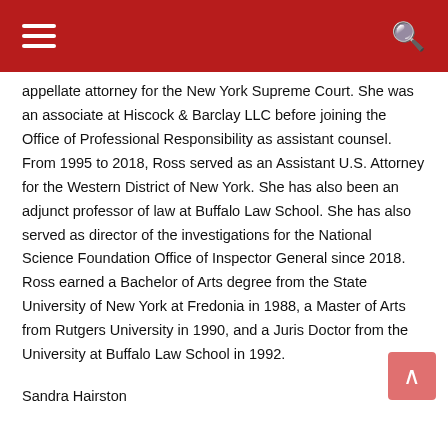appellate attorney for the New York Supreme Court. She was an associate at Hiscock & Barclay LLC before joining the Office of Professional Responsibility as assistant counsel. From 1995 to 2018, Ross served as an Assistant U.S. Attorney for the Western District of New York. She has also been an adjunct professor of law at Buffalo Law School. She has also served as director of the investigations for the National Science Foundation Office of Inspector General since 2018. Ross earned a Bachelor of Arts degree from the State University of New York at Fredonia in 1988, a Master of Arts from Rutgers University in 1990, and a Juris Doctor from the University at Buffalo Law School in 1992.
Sandra Hairston